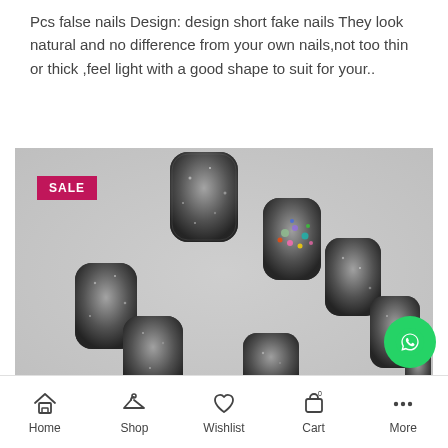Pcs false nails Design: design short fake nails They look natural and no difference from your own nails,not too thin or thick ,feel light with a good shape to suit for your..
[Figure (photo): Product photo of dark glitter false nails arranged on a light grey background. One nail has colorful rhinestone decorations. A pink SALE badge is visible in the top-left corner of the image.]
Home  Shop  Wishlist  Cart  More